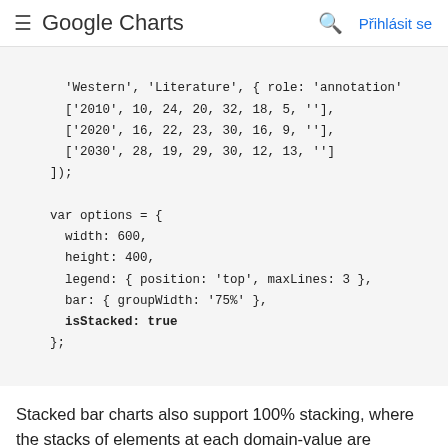≡ Google Charts  🔍  Přihlásit se
'Western', 'Literature', { role: 'annotation'
    ['2010', 10, 24, 20, 32, 18, 5, ''],
    ['2020', 16, 22, 23, 30, 16, 9, ''],
    ['2030', 28, 19, 29, 30, 12, 13, '']
]);

var options = {
  width: 600,
  height: 400,
  legend: { position: 'top', maxLines: 3 },
  bar: { groupWidth: '75%' },
  isStacked: true
};
Stacked bar charts also support 100% stacking, where the stacks of elements at each domain-value are rescaled such that they add up to 100%. The options for this are isStacked: 'percent' , which formats each value as a percentage of 100%, and isStacked: 'relative', ...